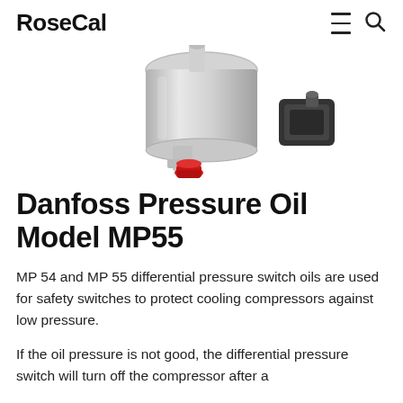RoseCal
[Figure (photo): Product photo of a Danfoss Pressure Oil Model MP55 differential pressure switch, showing a metallic cylindrical body with a red fitting/port at the bottom and a black component at the top right.]
Danfoss Pressure Oil Model MP55
MP 54 and MP 55 differential pressure switch oils are used for safety switches to protect cooling compressors against low pressure.
If the oil pressure is not good, the differential pressure switch will turn off the compressor after a